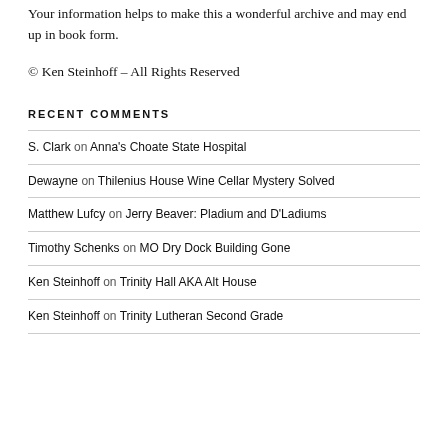Your information helps to make this a wonderful archive and may end up in book form.
© Ken Steinhoff – All Rights Reserved
RECENT COMMENTS
S. Clark on Anna's Choate State Hospital
Dewayne on Thilenius House Wine Cellar Mystery Solved
Matthew Lufcy on Jerry Beaver: Pladium and D'Ladiums
Timothy Schenks on MO Dry Dock Building Gone
Ken Steinhoff on Trinity Hall AKA Alt House
Ken Steinhoff on Trinity Lutheran Second Grade